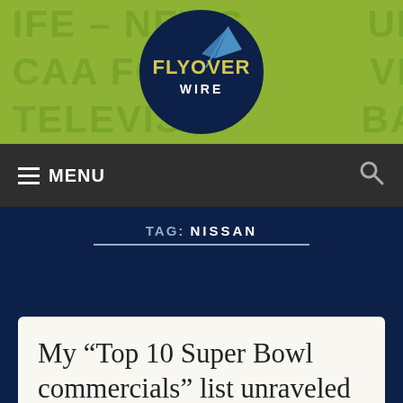[Figure (logo): Flyover Wire logo: dark navy circle with 'FLYOVER WIRE' text in yellow and a paper airplane graphic, set on a yellow-green banner background with repeated sports category text]
MENU
TAG: NISSAN
My “Top 10 Super Bowl commercials” list unraveled into a reflection on the state of super bowl commercials.